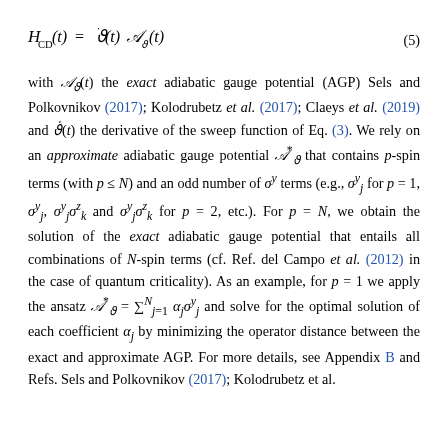with A_ϑ(t) the exact adiabatic gauge potential (AGP) Sels and Polkovnikov (2017); Kolodrubetz et al. (2017); Claeys et al. (2019) and ϑ̇(t) the derivative of the sweep function of Eq. (3). We rely on an approximate adiabatic gauge potential A*_ϑ that contains p-spin terms (with p ≤ N) and an odd number of σ^y terms (e.g., σ^y_j for p = 1, σ^y_j, σ^y_j σ^z_k and σ^y_j σ^z_k for p = 2, etc.). For p = N, we obtain the solution of the exact adiabatic gauge potential that entails all combinations of N-spin terms (cf. Ref. del Campo et al. (2012) in the case of quantum criticality). As an example, for p = 1 we apply the ansatz A*_ϑ = Σ^N_{j=1} α_j σ^y_j and solve for the optimal solution of each coefficient α_j by minimizing the operator distance between the exact and approximate AGP. For more details, see Appendix B and Refs. Sels and Polkovnikov (2017); Kolodrubetz et al.